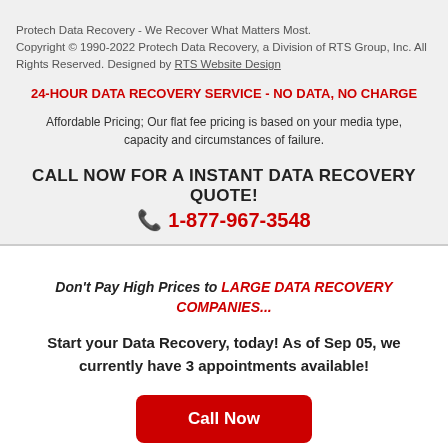Protech Data Recovery - We Recover What Matters Most. Copyright © 1990-2022 Protech Data Recovery, a Division of RTS Group, Inc. All Rights Reserved. Designed by RTS Website Design
24-HOUR DATA RECOVERY SERVICE - NO DATA, NO CHARGE
Affordable Pricing; Our flat fee pricing is based on your media type, capacity and circumstances of failure.
CALL NOW FOR A INSTANT DATA RECOVERY QUOTE!
📞 1-877-967-3548
Don't Pay High Prices to LARGE DATA RECOVERY COMPANIES...
Start your Data Recovery, today! As of Sep 05, we currently have 3 appointments available!
Call Now